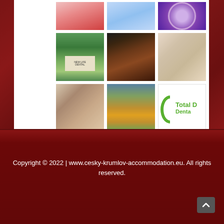[Figure (photo): Grid of 9 thumbnail images: dental/health-related photos including teeth, a purple logo/seal, a building sign, a back massage, two children laughing, hands together, autumn lake scene, and Total Dental logo]
Copyright © 2022 | www.cesky-krumlov-accommodation.eu. All rights reserved.